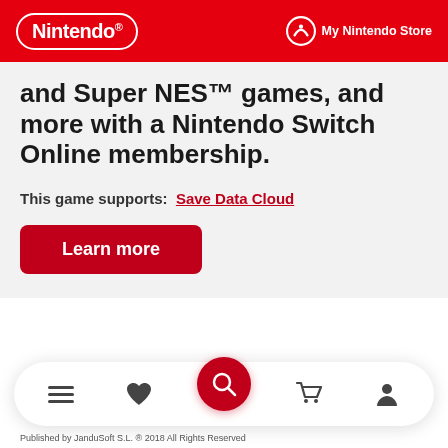Nintendo | My Nintendo Store
and Super NES™ games, and more with a Nintendo Switch Online membership.
This game supports: Save Data Cloud
Learn more
Published by JanduSoft S.L. ® 2018 All Rights Reserved